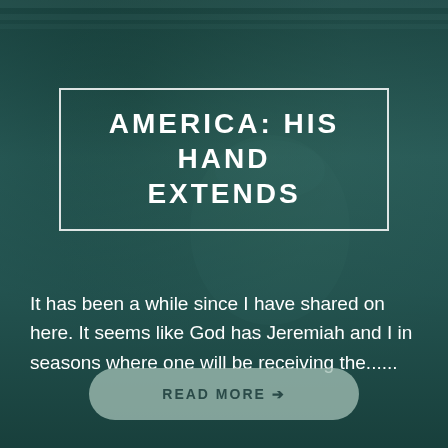[Figure (photo): Dark teal-toned background image showing an American flag and a raised fist, with heavy dark overlay for text contrast]
AMERICA: HIS HAND EXTENDS
It has been a while since I have shared on here. It seems like God has Jeremiah and I in seasons where one will be receiving the......
READ MORE →